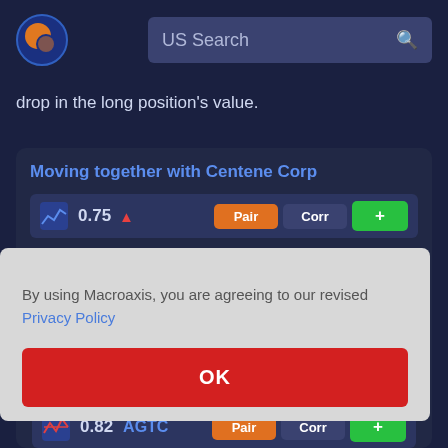[Figure (logo): Macroaxis globe logo — orange and blue globe icon]
US Search
drop in the long position's value.
Moving together with Centene Corp
|  | Value |  | Pair | Corr | + |
| --- | --- | --- | --- | --- | --- |
| icon | 0.75 | ▲ | Pair | Corr | + |
| icon | 0.82 | AGTC | Pair | Corr | + |
By using Macroaxis, you are agreeing to our revised Privacy Policy
OK